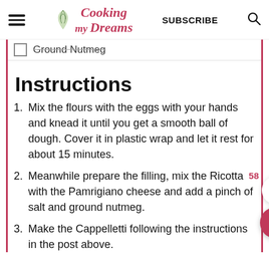Cooking my Dreams — SUBSCRIBE
Ground Nutmeg
Instructions
1. Mix the flours with the eggs with your hands and knead it until you get a smooth ball of dough. Cover it in plastic wrap and let it rest for about 15 minutes.
2. Meanwhile prepare the filling, mix the Ricotta with the Pamrigiano cheese and add a pinch of salt and ground nutmeg.
3. Make the Cappelletti following the instructions in the post above.